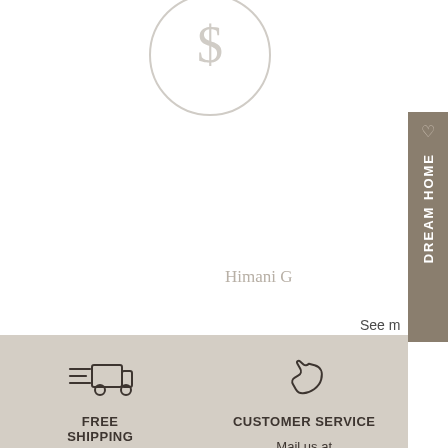[Figure (illustration): Watermark-style circular logo icon in light gray at top center]
Himani G
See m
[Figure (illustration): Delivery truck icon with speed lines]
FREE SHIPPING
Free shipping on purchases over $2000
[Figure (illustration): Phone handset icon]
CUSTOMER SERVICE
Mail us at info@studiovertiale.com or call 617-751-0829
♡ DREAM HOME